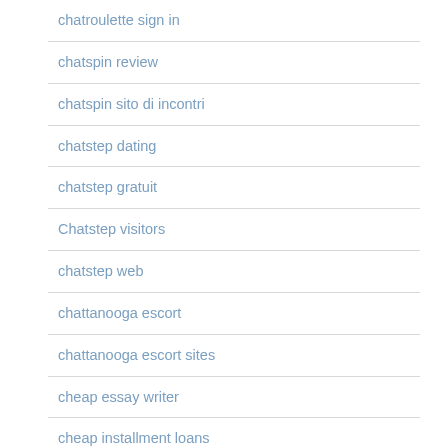chatroulette sign in
chatspin review
chatspin sito di incontri
chatstep dating
chatstep gratuit
Chatstep visitors
chatstep web
chattanooga escort
chattanooga escort sites
cheap essay writer
cheap installment loans